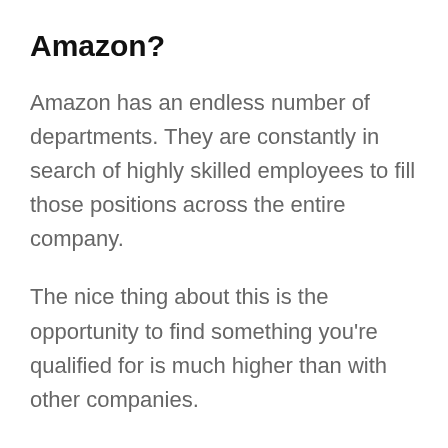Amazon?
Amazon has an endless number of departments. They are constantly in search of highly skilled employees to fill those positions across the entire company.
The nice thing about this is the opportunity to find something you're qualified for is much higher than with other companies.
There are going to be positions that require a great deal of experience and a certain